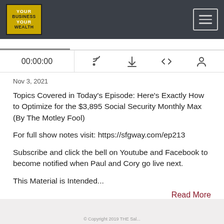[Figure (logo): Your Business Your Wealth podcast logo in gold/yellow box with hamburger menu icon on dark nav bar]
00:00:00
Nov 3, 2021
Topics Covered in Today's Episode: Here's Exactly How to Optimize for the $3,895 Social Security Monthly Max (By The Motley Fool)
For full show notes visit: https://sfgway.com/ep213
Subscribe and click the bell on Youtube and Facebook to become notified when Paul and Cory go live next.
This Material is Intended...
Read More
© Copyright 2019 THE Sal...